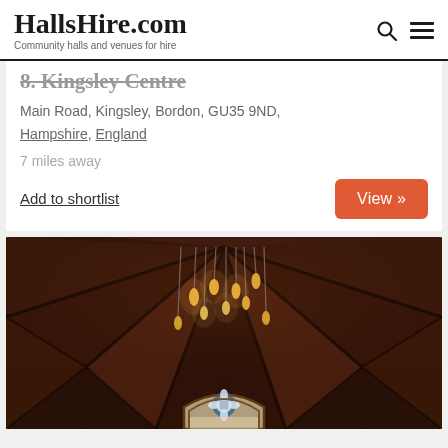HallsHire.com — Community halls and venues for hire
8. Kingsley Centre
Main Road, Kingsley, Bordon, GU35 9ND, Hampshire, England
7 miles away
Add to shortlist
View »
[Figure (photo): Interior of a venue with geometric wooden ceiling structure and hanging Edison bulb lights, with a stained glass window visible at the bottom]